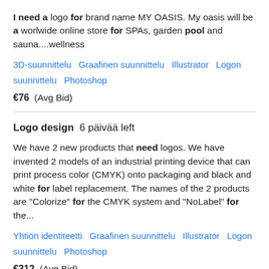I need a logo for brand name MY OASIS. My oasis will be a worlwide online store for SPAs, garden pool and sauna....wellness
3D-suunnittelu   Graafinen suunnittelu   Illustrator   Logon suunnittelu   Photoshop
€76  (Avg Bid)
Logo design  6 päivää left
We have 2 new products that need logos. We have invented 2 models of an industrial printing device that can print process color (CMYK) onto packaging and black and white for label replacement. The names of the 2 products are "Colorize" for the CMYK system and "NoLabel" for the...
Yhtiön identiteetti   Graafinen suunnittelu   Illustrator   Logon suunnittelu   Photoshop
€312  (Avg Bid)